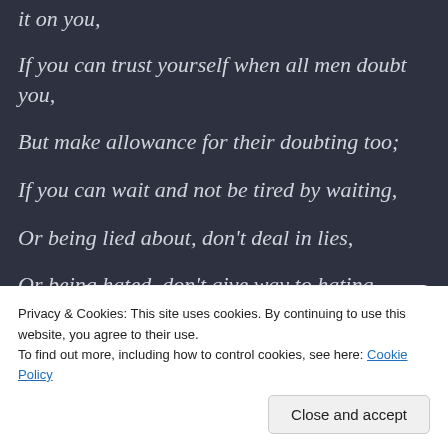it on you,
If you can trust yourself when all men doubt you,
But make allowance for their doubting too;
If you can wait and not be tired by waiting,
Or being lied about, don't deal in lies,
Or being hated, don't give way to hating,
[Figure (other): GET THE APP banner with WordPress logo]
Privacy & Cookies: This site uses cookies. By continuing to use this website, you agree to their use.
To find out more, including how to control cookies, see here: Cookie Policy
Close and accept